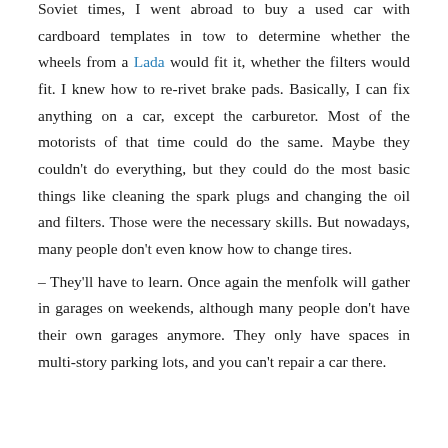Soviet times, I went abroad to buy a used car with cardboard templates in tow to determine whether the wheels from a Lada would fit it, whether the filters would fit. I knew how to re-rivet brake pads. Basically, I can fix anything on a car, except the carburetor. Most of the motorists of that time could do the same. Maybe they couldn't do everything, but they could do the most basic things like cleaning the spark plugs and changing the oil and filters. Those were the necessary skills. But nowadays, many people don't even know how to change tires.
– They'll have to learn. Once again the menfolk will gather in garages on weekends, although many people don't have their own garages anymore. They only have spaces in multi-story parking lots, and you can't repair a car there.